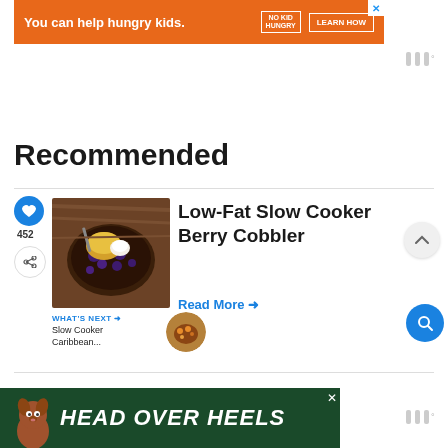[Figure (infographic): Orange advertisement banner: 'You can help hungry kids.' No Kid Hungry logo and LEARN HOW button]
[Figure (other): Weather/temperature icons (three vertical bars and degree symbol) on right side]
Recommended
[Figure (photo): Photo of berry cobbler in a dark bowl with golden biscuit topping and blueberries]
Low-Fat Slow Cooker Berry Cobbler
Read More →
WHAT'S NEXT → Slow Cooker Caribbean...
[Figure (photo): Partial view of next recipe image (round photo of Caribbean slow cooker dish)]
[Figure (photo): Partial view of next recipe title starting with large bold letters]
[Figure (infographic): Green advertisement banner: HEAD OVER HEELS with dog photo]